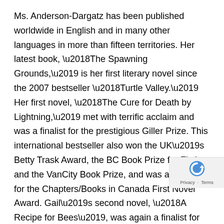Ms. Anderson-Dargatz has been published worldwide in English and in many other languages in more than fifteen territories. Her latest book, ‘The Spawning Grounds,’ is her first literary novel since the 2007 bestseller ‘Turtle Valley.’ Her first novel, ‘The Cure for Death by Lightning,’ met with terrific acclaim and was a finalist for the prestigious Giller Prize. This international bestseller also won the UK’s Betty Trask Award, the BC Book Prize for Fiction and the VanCity Book Prize, and was a finalist for the Chapters/Books in Canada First Novel Award. Gail’s second novel, ‘A Recipe for Bees’, was again a finalist for the Giller Prize and was nominated for the IMPAC Dublin Literary Award. A Rhinestone Button was also a bestseller and her first book, ‘The Miss Hereford Stories,’ was a finalist for the Leacock Medal for Humour.
After nearly a decade of teaching within the Optional-